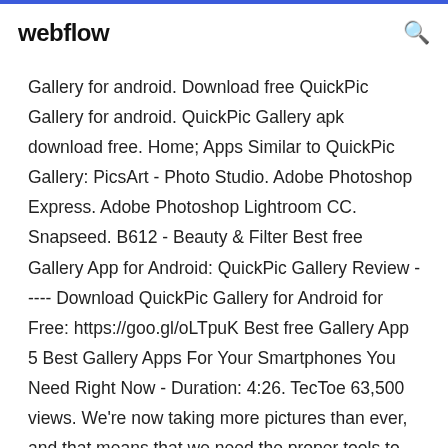webflow
Gallery for android. Download free QuickPic Gallery for android. QuickPic Gallery apk download free. Home; Apps Similar to QuickPic Gallery: PicsArt - Photo Studio. Adobe Photoshop Express. Adobe Photoshop Lightroom CC. Snapseed. B612 - Beauty & Filter Best free Gallery App for Android: QuickPic Gallery Review ----- Download QuickPic Gallery for Android for Free: https://goo.gl/oLTpuK Best free Gallery App 5 Best Gallery Apps For Your Smartphones You Need Right Now - Duration: 4:26. TecToe 63,500 views. We're now taking more pictures than ever, and that means that we need the proper tools to manage the ever increasing collection of images. Just ordering